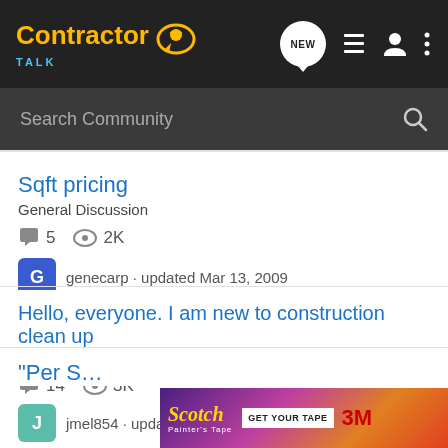Contractor Talk — NEW | List | User | Menu
Search Community
Sqft pricing
General Discussion
5 replies · 2K views
genecarp · updated Mar 13, 2009
Hello, everyone. I am new to construction clean up
General Discussion
14 replies · 3K views
jmel854 · updated Jun 19, 2013
[Figure (screenshot): Scotch Painter's Tape advertisement banner with GET YOUR TAPE button and 3M logo]
"Per S…